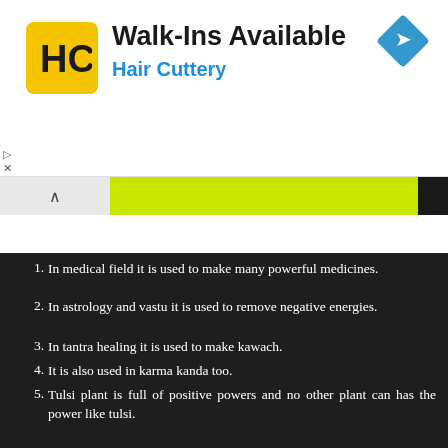[Figure (logo): Hair Cuttery advertisement banner with HC logo, 'Walk-Ins Available' heading and 'Hair Cuttery' subtitle in blue, with a blue diamond direction icon on the right]
In medical field it is used to make many powerful medicines.
In astrology and vastu it is used to remove negative energies.
In tantra healing it is used to make kawach.
It is also used in karma kanda too.
Tulsi plant is full of positive powers and no other plant can has the power like tulsi.
It has the power to cure fever.
Tulsi has the power in stress management.
It can also provide the solution of stone problems.